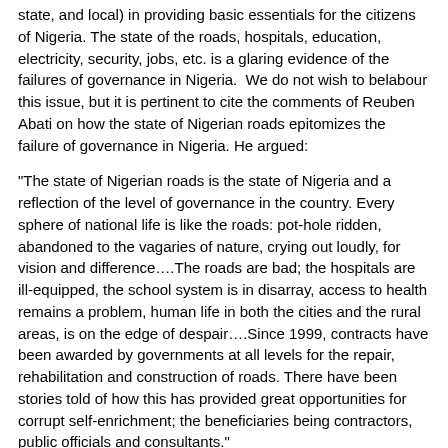state, and local) in providing basic essentials for the citizens of Nigeria. The state of the roads, hospitals, education, electricity, security, jobs, etc. is a glaring evidence of the failures of governance in Nigeria.  We do not wish to belabour this issue, but it is pertinent to cite the comments of Reuben Abati on how the state of Nigerian roads epitomizes the failure of governance in Nigeria. He argued:
"The state of Nigerian roads is the state of Nigeria and a reflection of the level of governance in the country. Every sphere of national life is like the roads: pot-hole ridden, abandoned to the vagaries of nature, crying out loudly, for vision and difference….The roads are bad; the hospitals are ill-equipped, the school system is in disarray, access to health remains a problem, human life in both the cities and the rural areas, is on the edge of despair….Since 1999, contracts have been awarded by governments at all levels for the repair, rehabilitation and construction of roads. There have been stories told of how this has provided great opportunities for corrupt self-enrichment; the beneficiaries being contractors, public officials and consultants."
(Reuben Abati, “Nigeria’s deplorable roads,” The Guardian, Lagos, Friday, October 13, 2006).
We have not witnessed any significant qualitative development either before or since Abati’s succinct commentary in 2006. In his 51st